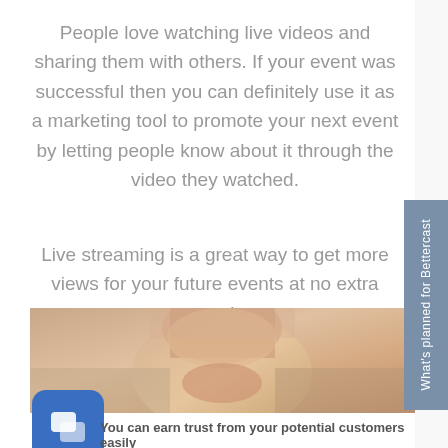People love watching live videos and sharing them with others. If your event was successful then you can definitely use it as a marketing tool to promote your next event by letting people know about it through the video they watched.
Live streaming is a great way to get more views for your future events at no extra cost!
[Figure (photo): Close-up photo of a woman's face with blonde hair and warm skin tones]
You can earn trust from your potential customers easily
[Figure (photo): Photo of a person with hand on chest, wearing white top]